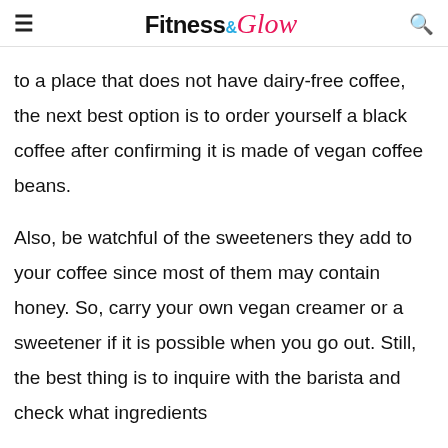Fitness & Glow
to a place that does not have dairy-free coffee, the next best option is to order yourself a black coffee after confirming it is made of vegan coffee beans.
Also, be watchful of the sweeteners they add to your coffee since most of them may contain honey. So, carry your own vegan creamer or a sweetener if it is possible when you go out. Still, the best thing is to inquire with the barista and check what ingredients